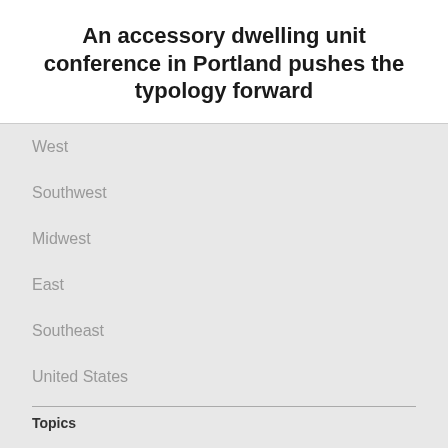An accessory dwelling unit conference in Portland pushes the typology forward
West
Southwest
Midwest
East
Southeast
United States
Topics
AN INTERIOR
Architecture
A